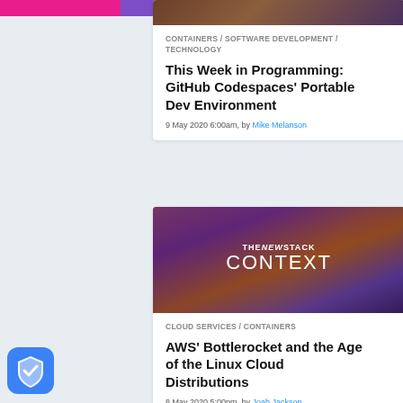[Figure (screenshot): Top navigation bar with pink, purple and blue sections]
[Figure (photo): Article thumbnail image - dark warm tones]
CONTAINERS / SOFTWARE DEVELOPMENT / TECHNOLOGY
This Week in Programming: GitHub Codespaces' Portable Dev Environment
9 May 2020 6:00am, by Mike Melanson
[Figure (photo): The New Stack Context logo overlay on dark purple/orange background with person]
CLOUD SERVICES / CONTAINERS
AWS' Bottlerocket and the Age of the Linux Cloud Distributions
8 May 2020 5:00pm, by Joab Jackson